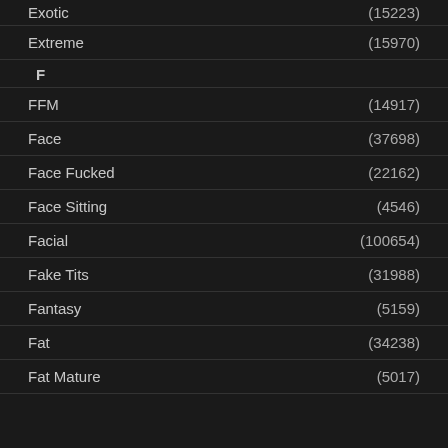Exotic (15223)
Extreme (15970)
F
FFM (14917)
Face (37698)
Face Fucked (22162)
Face Sitting (4546)
Facial (100654)
Fake Tits (31988)
Fantasy (5159)
Fat (34238)
Fat Mature (5017)